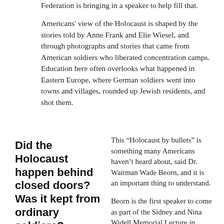Federation is bringing in a speaker to help fill that.
Americans' view of the Holocaust is shaped by the stories told by Anne Frank and Elie Wiesel, and through photographs and stories that came from American soldiers who liberated concentration camps. Education here often overlooks what happened in Eastern Europe, where German soldiers went into towns and villages, rounded up Jewish residents, and shot them.
Did the Holocaust happen behind closed doors? Was it kept from ordinary soldiers?
This “Holocaust by bullets” is something many Americans haven’t heard about, said Dr. Waitman Wade Beorn, and it is an important thing to understand.
Beorn is the first speaker to come as part of the Sidney and Nina Widell Memorial Lecture in